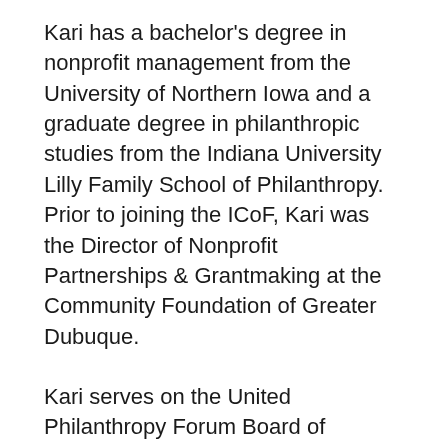Kari has a bachelor's degree in nonprofit management from the University of Northern Iowa and a graduate degree in philanthropic studies from the Indiana University Lilly Family School of Philanthropy. Prior to joining the ICoF, Kari was the Director of Nonprofit Partnerships & Grantmaking at the Community Foundation of Greater Dubuque.
Kari serves on the United Philanthropy Forum Board of Directors, Creative Adventure Lab Board of Directors, University of Northern Iowa Nonprofit Leadership Alliance Advisory Board, University of Northern Iowa Leisure, Youth and Human Services Advisory Council, and is a Co-Chair of a United Philanthropy Forum Peer Community. Kari is a Jr. Achievement classroom